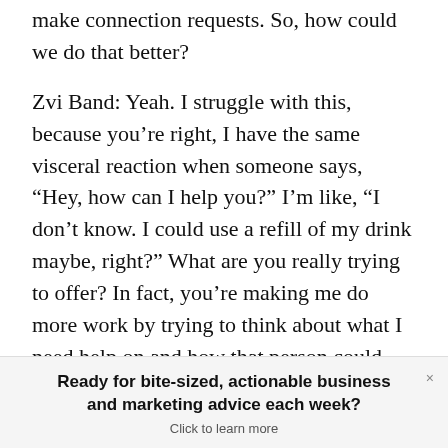make connection requests. So, how could we do that better?
Zvi Band: Yeah. I struggle with this, because you’re right, I have the same visceral reaction when someone says, “Hey, how can I help you?” I’m like, “I don’t know. I could use a refill of my drink maybe, right?” What are you really trying to offer? In fact, you’re making me do more work by trying to think about what I need help on and how that person could help out.
Ready for bite-sized, actionable business and marketing advice each week? Click to learn more